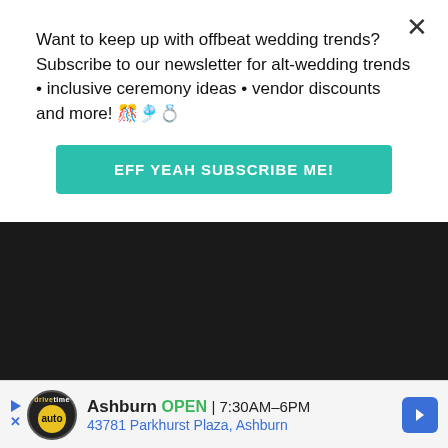Want to keep up with offbeat wedding trends?Subscribe to our newsletter for alt-wedding trends • inclusive ceremony ideas • vendor discounts and more! 🎊🎐💍
[Figure (other): Teal subscribe button with text EFF YEAH SUBSCRIBE ME!]
[Figure (photo): Four photo grid: top-left teal album cover with cursive text, top-right close-up of wedding couple midsection with teal sash, bottom-left black and white vintage photo of couple with pink X overlay, bottom-right color photo of people at ceremony outdoors]
[Figure (other): Advertisement banner: DriveTime auto dealer. Ashburn OPEN 7:30AM-6PM, 43781 Parkhurst Plaza, Ashburn]